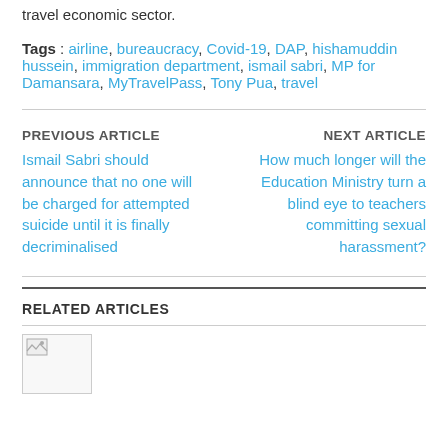travel economic sector.
Tags : airline, bureaucracy, Covid-19, DAP, hishamuddin hussein, immigration department, ismail sabri, MP for Damansara, MyTravelPass, Tony Pua, travel
PREVIOUS ARTICLE
Ismail Sabri should announce that no one will be charged for attempted suicide until it is finally decriminalised
NEXT ARTICLE
How much longer will the Education Ministry turn a blind eye to teachers committing sexual harassment?
RELATED ARTICLES
[Figure (photo): Thumbnail image placeholder for a related article]